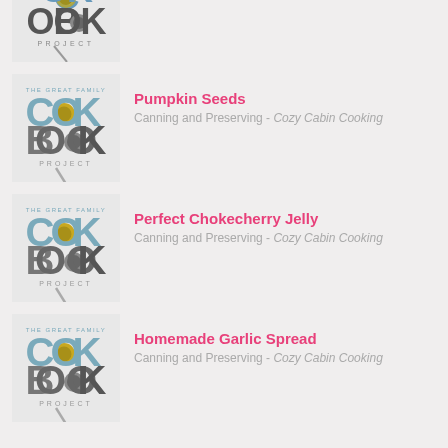[Figure (logo): The Great Family Cookbook Project logo - partially cropped at top]
[Figure (logo): The Great Family Cookbook Project logo]
Pumpkin Seeds
Canning and Preserving - Cozy Cabin Cooking
[Figure (logo): The Great Family Cookbook Project logo]
Perfect Chokecherry Jelly
Canning and Preserving - Cozy Cabin Cooking
[Figure (logo): The Great Family Cookbook Project logo]
Homemade Garlic Spread
Canning and Preserving - Cozy Cabin Cooking